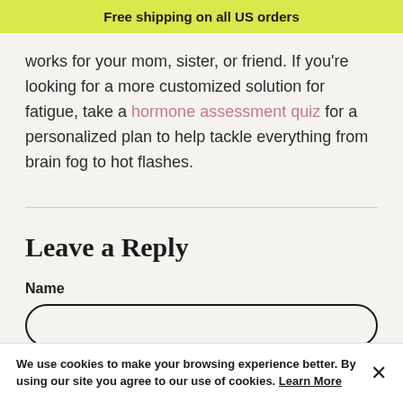Free shipping on all US orders
works for your mom, sister, or friend. If you're looking for a more customized solution for fatigue, take a hormone assessment quiz for a personalized plan to help tackle everything from brain fog to hot flashes.
Leave a Reply
Name
—
We use cookies to make your browsing experience better. By using our site you agree to our use of cookies. Learn More